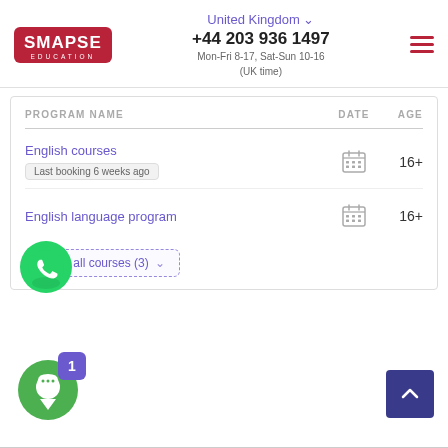[Figure (logo): SMAPSE EDUCATION logo - red/crimson background with white text]
United Kingdom ∨
+44 203 936 1497
Mon-Fri 8-17, Sat-Sun 10-16
(UK time)
| PROGRAM NAME | DATE | AGE |
| --- | --- | --- |
| English courses
Last booking 6 weeks ago | [calendar] | 16+ |
| English language program | [calendar] | 16+ |
Show all courses (3)
[Figure (illustration): WhatsApp green circle button icon]
[Figure (illustration): Green chat bubble button with badge showing 1]
[Figure (illustration): Dark blue scroll-to-top button with upward arrow]